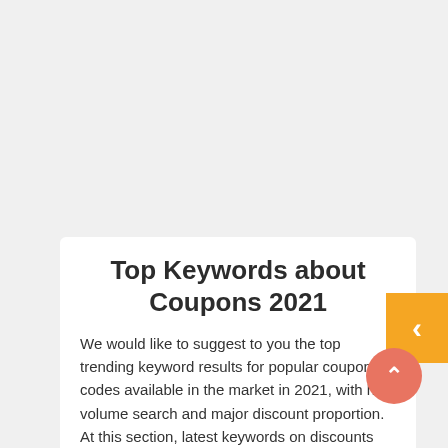[Figure (other): Orange sidebar button with left-pointing chevron arrow on the right edge of the page]
[Figure (other): Salmon/coral colored circular scroll-to-top button with upward chevron arrow]
Top Keywords about Coupons 2021
We would like to suggest to you the top trending keyword results for popular coupon codes available in the market in 2021, with high volume search and major discount proportion. At this section, latest keywords on discounts